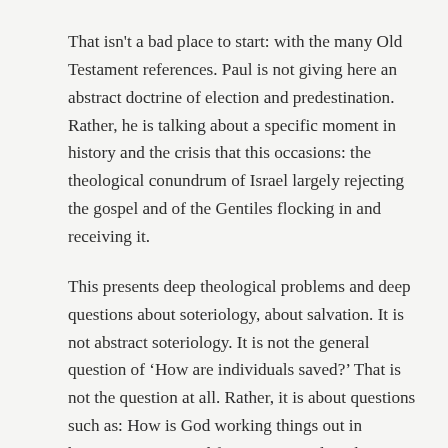That isn't a bad place to start: with the many Old Testament references. Paul is not giving here an abstract doctrine of election and predestination. Rather, he is talking about a specific moment in history and the crisis that this occasions: the theological conundrum of Israel largely rejecting the gospel and of the Gentiles flocking in and receiving it.
This presents deep theological problems and deep questions about soteriology, about salvation. It is not abstract soteriology. It is not the general question of 'How are individuals saved?' That is not the question at all. Rather, it is about questions such as: How is God working things out in history? How is God forming a people in history? How does this comport with God's character? How does this fit in with his covenant purpose? And all